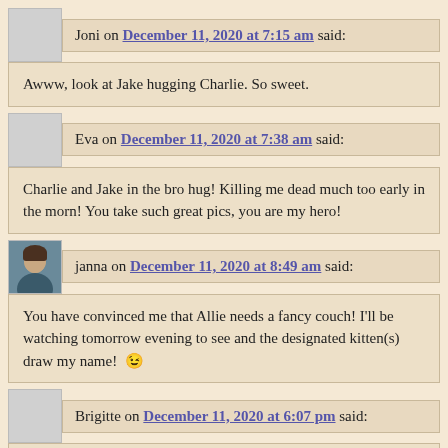Joni on December 11, 2020 at 7:15 am said:
Awww, look at Jake hugging Charlie. So sweet.
Eva on December 11, 2020 at 7:38 am said:
Charlie and Jake in the bro hug! Killing me dead much too early in the morn! You take such great pics, you are my hero!
janna on December 11, 2020 at 8:49 am said:
You have convinced me that Allie needs a fancy couch! I'll be watching tomorrow evening to see and the designated kitten(s) draw my name! 😉
Brigitte on December 11, 2020 at 6:07 pm said:
Jake and his little brother Charlie snuggling…oh, my heart!
You can almost feel how soft French Fry must be just by